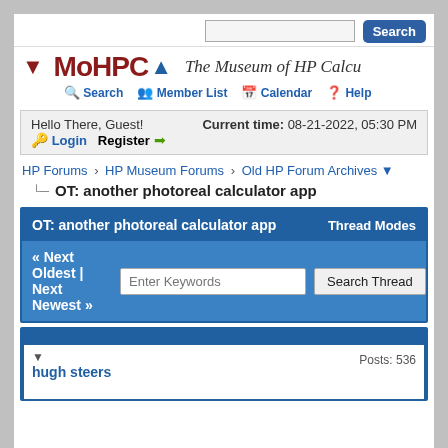Search [search input] Search button
[Figure (logo): MoHPCA logo with red down arrow, blue up arrow, and italic tagline 'The Museum of HP Calcu...']
Search | Member List | Calendar | Help
Hello There, Guest!  Current time: 08-21-2022, 05:30 PM
Login  Register
HP Forums › HP Museum Forums › Old HP Forum Archives ▼
OT: another photoreal calculator app
OT: another photoreal calculator app   Thread Modes
« Next Oldest | Next Newest »  [Enter Keywords] [Search Thread]
▼
hugh steers   Posts: 536